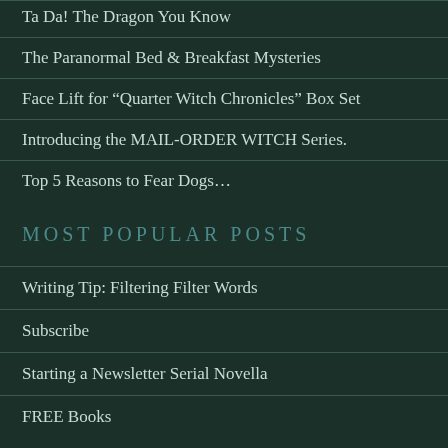Ta Da! The Dragon You Know
The Paranormal Bed & Breakfast Mysteries
Face Lift for “Quarter Witch Chronicles” Box Set
Introducing the MAIL-ORDER WITCH Series.
Top 5 Reasons to Fear Dogs…
Most Popular Posts
Writing Tip: Filtering Filter Words
Subscribe
Starting a Newsletter Serial Novella
FREE Books